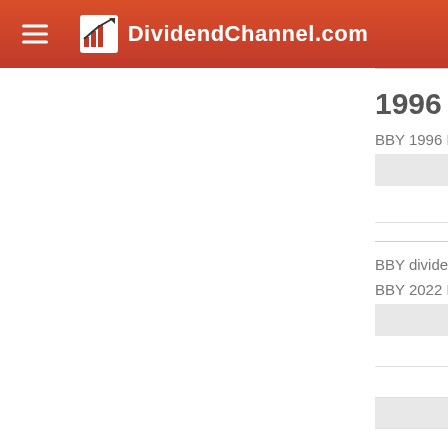DividendChannel.com
1996 to 1997
BBY 1996 Dividend
| Ex-Date |
| --- |
| No data f |
BBY dividends so
BBY 2022 Dividend
| Ex-Date |
| --- |
| 3/23 |
| 6/13 |
| Total: |